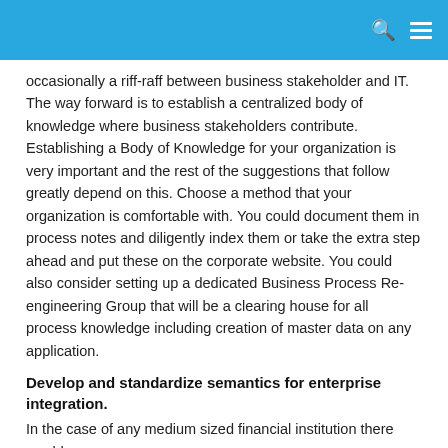occasionally a riff-raff between business stakeholder and IT. The way forward is to establish a centralized body of knowledge where business stakeholders contribute. Establishing a Body of Knowledge for your organization is very important and the rest of the suggestions that follow greatly depend on this. Choose a method that your organization is comfortable with. You could document them in process notes and diligently index them or take the extra step ahead and put these on the corporate website. You could also consider setting up a dedicated Business Process Re-engineering Group that will be a clearing house for all process knowledge including creation of master data on any application.
Develop and standardize semantics for enterprise integration.
In the case of any medium sized financial institution there would